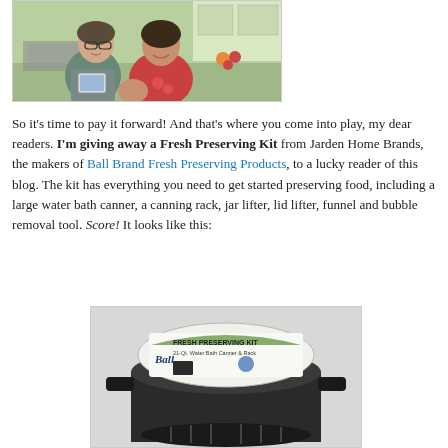[Figure (photo): Two women smiling in a kitchen setting, one wearing a grey t-shirt and one wearing a red t-shirt with strawberry design]
So it's time to pay it forward! And that's where you come into play, my dear readers. I'm giving away a Fresh Preserving Kit from Jarden Home Brands, the makers of Ball Brand Fresh Preserving Products, to a lucky reader of this blog. The kit has everything you need to get started preserving food, including a large water bath canner, a canning rack, jar lifter, lid lifter, funnel and bubble removal tool. Score! It looks like this:
[Figure (photo): Ball Brand Fresh Preserving Kit product photo showing a large black water bath canner with packaging label]